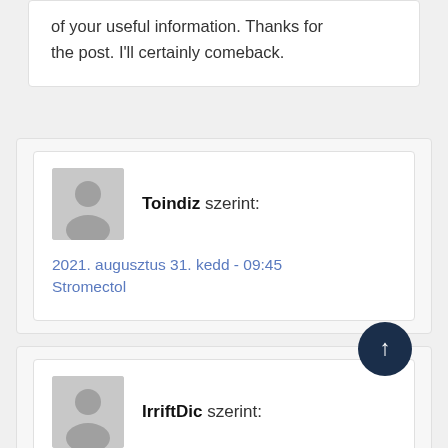of your useful information. Thanks for the post. I'll certainly comeback.
Toindiz szerint:
2021. augusztus 31. kedd - 09:45
Stromectol
[Figure (illustration): Scroll to top button — dark navy circular button with upward arrow]
IrriftDic szerint: